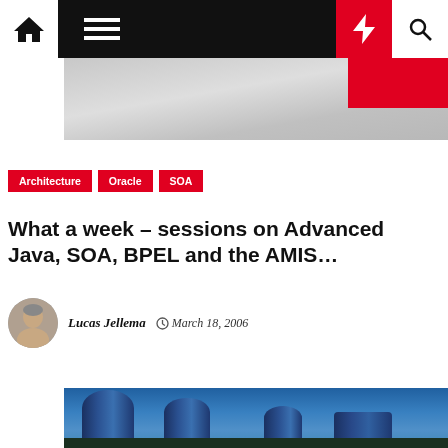Navigation bar with home, menu, lightning bolt, and search icons
[Figure (screenshot): Partial hero image - gray/silver background at top]
Architecture
Oracle
SOA
What a week – sessions on Advanced Java, SOA, BPEL and the AMIS…
Lucas Jellema   March 18, 2006
[Figure (photo): Oracle headquarters buildings - glass cylindrical towers against blue sky]